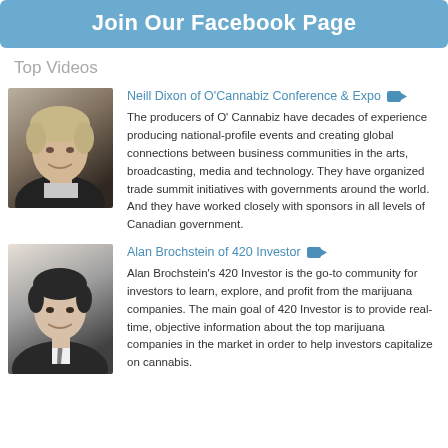Join Our Facebook Page
Top Videos
[Figure (photo): Headshot of Neill Dixon, older man with gray-blond hair, smiling, wearing dark jacket]
Neill Dixon of O'Cannabiz Conference & Expo
The producers of O' Cannabiz have decades of experience producing national-profile events and creating global connections between business communities in the arts, broadcasting, media and technology. They have organized trade summit initiatives with governments around the world. And they have worked closely with sponsors in all levels of Canadian government.
[Figure (photo): Headshot of Alan Brochstein, middle-aged man with dark hair, smiling, wearing dark suit and tie]
Alan Brochstein of 420 Investor
Alan Brochstein's 420 Investor is the go-to community for investors to learn, explore, and profit from the marijuana companies. The main goal of 420 Investor is to provide real-time, objective information about the top marijuana companies in the market in order to help investors capitalize on cannabis.